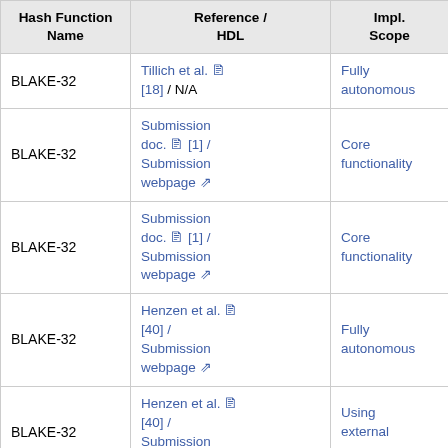| Hash Function Name | Reference / HDL | Impl. Scope |
| --- | --- | --- |
| BLAKE-32 | Tillich et al. [18] / N/A | Fully autonomous |
| BLAKE-32 | Submission doc. [1] / Submission webpage | Core functionality |
| BLAKE-32 | Submission doc. [1] / Submission webpage | Core functionality |
| BLAKE-32 | Henzen et al. [40] / Submission webpage | Fully autonomous |
| BLAKE-32 | Henzen et al. [40] / Submission webpage | Using external memory |
| BLAKE-64 | Submission doc. [1] / | Core |